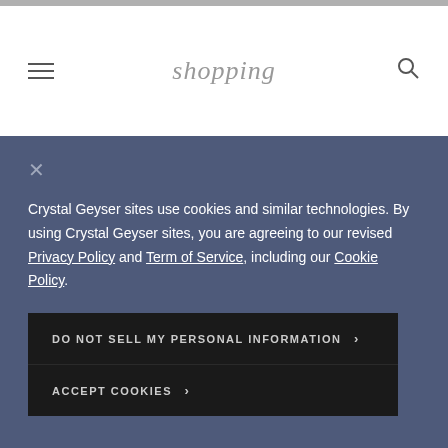[Figure (screenshot): Top navigation bar with hamburger menu icon on the left and search icon on the right]
shopping
Crystal Geyser sites use cookies and similar technologies. By using Crystal Geyser sites, you are agreeing to our revised Privacy Policy and Term of Service, including our Cookie Policy.
DO NOT SELL MY PERSONAL INFORMATION >
ACCEPT COOKIES >